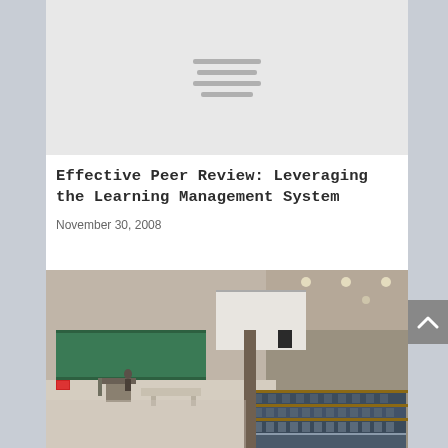[Figure (other): Gray placeholder image area with hamburger/lines icon in the center]
Effective Peer Review: Leveraging the Learning Management System
November 30, 2008
[Figure (photo): Photograph of a large university lecture hall with tiered blue seats, a projection screen, and green chalkboards at the front]